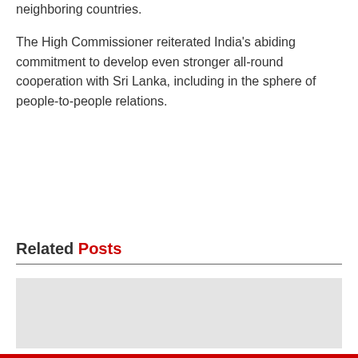neighboring countries.
The High Commissioner reiterated India's abiding commitment to develop even stronger all-round cooperation with Sri Lanka, including in the sphere of people-to-people relations.
Related Posts
[Figure (photo): Gray placeholder image box for a related post]